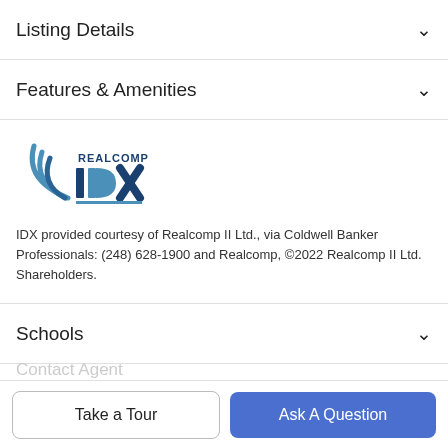Listing Details
Features & Amenities
[Figure (logo): Realcomp IDX logo with blue wave and IDX text]
IDX provided courtesy of Realcomp II Ltd., via Coldwell Banker Professionals: (248) 628-1900 and Realcomp, ©2022 Realcomp II Ltd. Shareholders.
Schools
Payment Calculator
Contact Agent
Take a Tour
Ask A Question